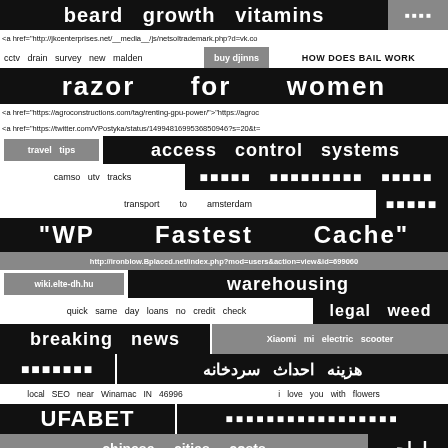beard growth vitamins
<a href="http://jkcenterprises.net/__media__/js/netsoltrademark.php?d=vk.co
cctv drain survey new malden   buy djinns   HOW DOES BAIL WORK
razor   for   women
<a href="https://agroconstructions.com/tag/renting-gpu-power/">"https://agroc
<a href="https://twitter.com/VPostyka/status/1499481699536850946?s=20&t=
travel tips   access control systems
camso utv tracks   [blocks]   [blocks]   [blocks]
transport to amsterdam   [blocks]
"WP   Fastest   Cache"
http://ironblow.Bplaced.net/index.php?mod=users&action=view&id=699060
wiki.elte-dh.hu   warehousing
quick same day loans no credit check   legal weed
breaking news   Xiaomi mi electric scooter
[blocks]   سردخانه احداث هزینه
local SEO near Winamac IN 46996   i love you with flowers
UFABET   [blocks]
chinese cities costs   طراحی
<a href="https://twitter.com/Paul77338899/status/1543320215387267073">"h
[Arabic script row]